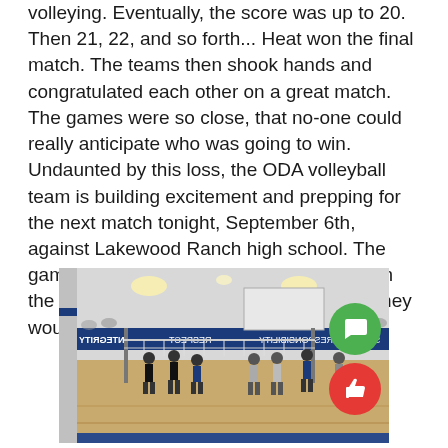volleying. Eventually, the score was up to 20. Then 21, 22, and so forth... Heat won the final match. The teams then shook hands and congratulated each other on a great match. The games were so close, that no-one could really anticipate who was going to win. Undaunted by this loss, the ODA volleyball team is building excitement and prepping for the next match tonight, September 6th, against Lakewood Ranch high school. The game is away at LWR high. Come cheer on the ODA JV and Varsity Volleyball team. They would love to have your support!
[Figure (photo): Indoor volleyball gym with players on court. A blue banner on the wall reads INTEGRITY, RESPECT, RESPONSIBILITY, SERVICE. A volleyball net is visible. Gym has wooden floor and ceiling lights. Two social media overlay icons (green comment bubble, red thumbs-up) appear on the right side.]